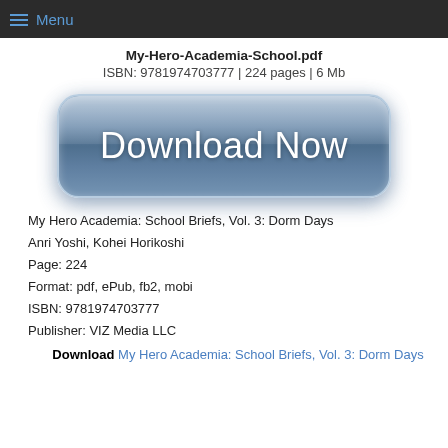Menu
My-Hero-Academia-School.pdf
ISBN: 9781974703777 | 224 pages | 6 Mb
[Figure (other): Large blue rounded button with text 'Download Now']
My Hero Academia: School Briefs, Vol. 3: Dorm Days
Anri Yoshi, Kohei Horikoshi
Page: 224
Format: pdf, ePub, fb2, mobi
ISBN: 9781974703777
Publisher: VIZ Media LLC
Download My Hero Academia: School Briefs, Vol. 3: Dorm Days